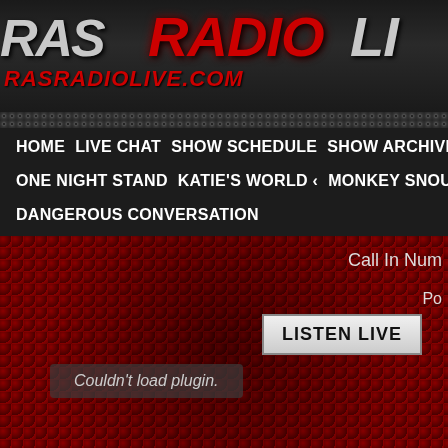[Figure (screenshot): RAS Radio Live website header banner with logo showing 'RAS RADIO LI' in large stylized text and 'RASRADIOLIVE.COM' URL below]
HOME   LIVE CHAT   SHOW SCHEDULE   SHOW ARCHIVE   THE R   ONE NIGHT STAND   KATIE'S WORLD   MONKEY SNOUT RADIO   DANGEROUS CONVERSATION
Call In Num
Po
LISTEN LIVE
Couldn't load plugin.
Help Support The Station
‹ Prev
Video: Planned Paren